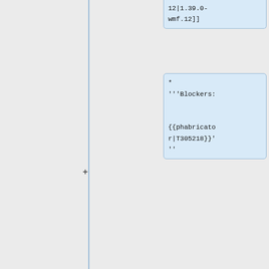[Figure (screenshot): Diff/comparison view of wiki template code showing two columns. Left column (yellow, deleted) shows deployment calendar event card template with date 2022-01-26 11:00 SF. Right column (blue, added) shows updated version with date 2022-05-18 06:00 SF. Also shows code boxes with '}}', '{{Deployment calendar event card', blockers phabricator template, and '|length=1' parameters.]